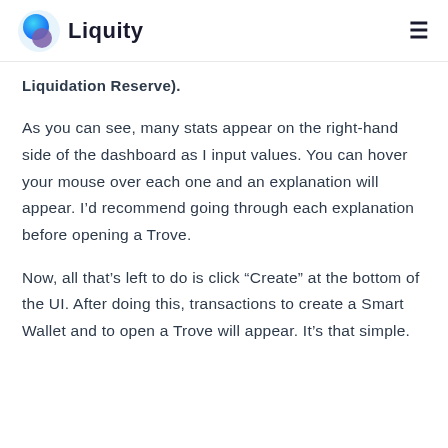Liquity
Liquidation Reserve).
As you can see, many stats appear on the right-hand side of the dashboard as I input values. You can hover your mouse over each one and an explanation will appear. I’d recommend going through each explanation before opening a Trove.
Now, all that’s left to do is click “Create” at the bottom of the UI. After doing this, transactions to create a Smart Wallet and to open a Trove will appear. It’s that simple.